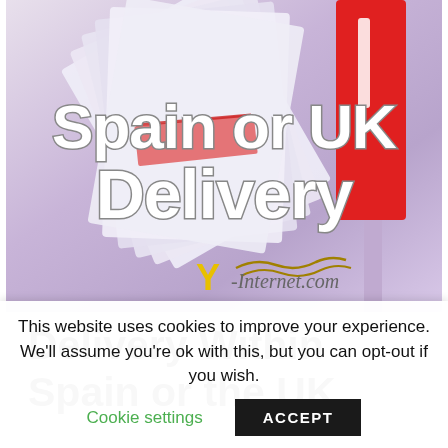[Figure (photo): Hero image showing papers/envelopes fanning out of a red mailbox on a purple/lavender background, with overlaid text 'Spain or UK Delivery' in white bold letters with gray outline, and a Y-Internet.com logo at the bottom]
Delivery Within Spain or the UK
This website uses cookies to improve your experience. We'll assume you're ok with this, but you can opt-out if you wish.